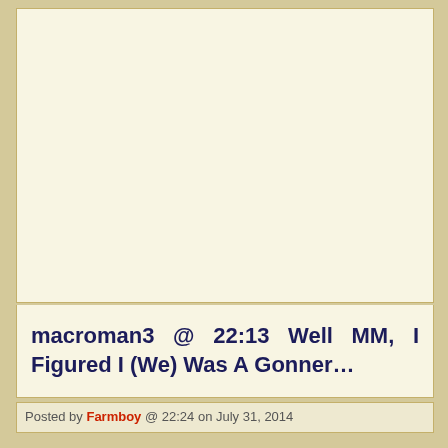[Figure (other): Empty cream/off-white content box area taking up the upper portion of the page]
macroman3 @ 22:13 Well MM, I Figured I (We) Was A Gonner…
Posted by Farmboy @ 22:24 on July 31, 2014